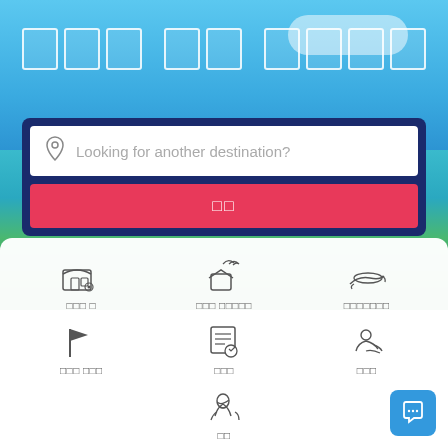[Figure (screenshot): Travel/tourism app or website screenshot showing a hero banner with an aerial island/ocean photo, a search bar with 'Looking for another destination?' placeholder, a red search button with Korean text, and a bottom section with 6 category icons (store, beach house, speedboat, flag, certificate, swimmer, coral) with Korean labels.]
□□□ □□ □□□□
Looking for another destination?
□□
□□□ □
□□□ □□□□□
□□□□□□□
□□□ □□□
□□□
□□□
□□